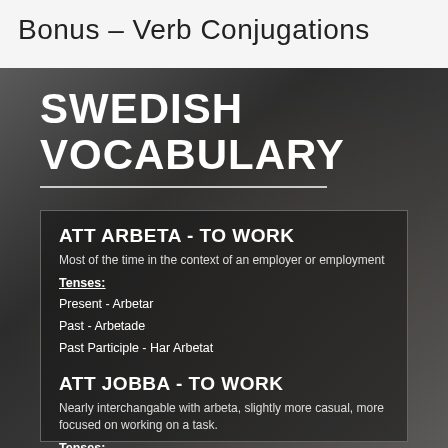Bonus – Verb Conjugations
[Figure (infographic): Swedish Vocabulary infographic with dark background showing two verb conjugations: ATT ARBETA - TO WORK and ATT JOBBA - TO WORK, each with tenses listed]
ATT ARBETA - TO WORK
Most of the time in the context of an employer or employment
Tenses:
Present - Arbetar
Past - Arbetade
Past Participle - Har Arbetat
ATT JOBBA - TO WORK
Nearly interchangable with arbeta, slightly more casual, more focused on working on a task.
Tenses:
Present - Jobbar
Past - Jobbade
Past Participle - Har Jobbat